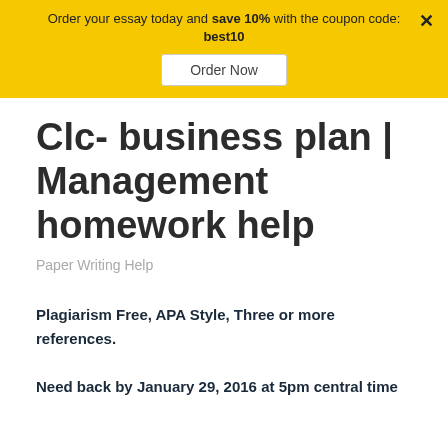Order your essay today and save 10% with the coupon code: best10
Clc- business plan | Management homework help
Paper Writing Help
Plagiarism Free, APA Style, Three or more references.

Need back by January 29, 2016 at 5pm central time